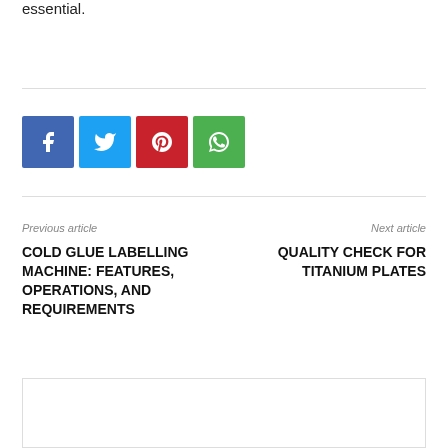essential.
[Figure (infographic): Social share buttons: Facebook (blue), Twitter (light blue), Pinterest (red), WhatsApp (green)]
Previous article
Next article
COLD GLUE LABELLING MACHINE: FEATURES, OPERATIONS, AND REQUIREMENTS
QUALITY CHECK FOR TITANIUM PLATES
[Figure (photo): Author profile photo showing a person]